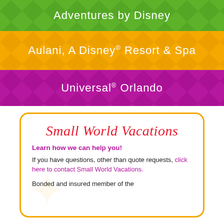Adventures by Disney
Aulani, A Disney® Resort & Spa
Universal® Orlando
Small World Vacations
Learn how we can help you!
If you have questions, other than quote requests, click here to contact Small World Vacations.
Bonded and insured member of the